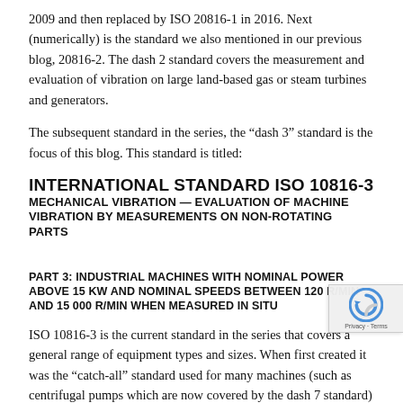2009 and then replaced by ISO 20816-1 in 2016. Next (numerically) is the standard we also mentioned in our previous blog, 20816-2. The dash 2 standard covers the measurement and evaluation of vibration on large land-based gas or steam turbines and generators.
The subsequent standard in the series, the “dash 3” standard is the focus of this blog. This standard is titled:
INTERNATIONAL STANDARD ISO 10816-3 MECHANICAL VIBRATION — EVALUATION OF MACHINE VIBRATION BY MEASUREMENTS ON NON-ROTATING PARTS
PART 3: INDUSTRIAL MACHINES WITH NOMINAL POWER ABOVE 15 KW AND NOMINAL SPEEDS BETWEEN 120 R/MIN AND 15 000 R/MIN WHEN MEASURED IN SITU
ISO 10816-3 is the current standard in the series that covers a general range of equipment types and sizes. When first created it was the “catch-all” standard used for many machines (such as centrifugal pumps which are now covered by the dash 7 standard) that have since come to be covered by their own specific part of the series. The “10816” issuance